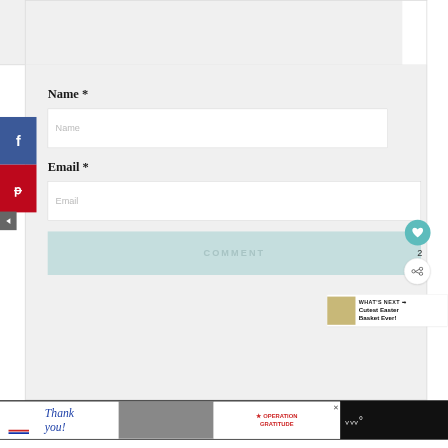Name *
Name (placeholder)
Email *
Email (placeholder)
COMMENT
2
WHAT'S NEXT → Cutest Easter Basket Ever!
[Figure (screenshot): Website comment form with Name and Email input fields and a COMMENT submit button. Left sidebar shows Facebook (blue) and Pinterest (red) social sharing buttons. Right side shows a heart/like button with count 2, a share button, and a 'What's Next' content recommendation widget. Bottom shows a black ad bar with a 'Thank you' Operation Gratitude advertisement.]